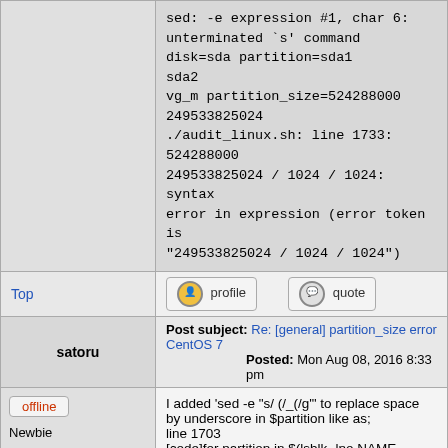sed: -e expression #1, char 6: unterminated `s' command
disk=sda partition=sda1
sda2
vg_m partition_size=524288000
249533825024
./audit_linux.sh: line 1733: 524288000 249533825024 / 1024 / 1024: syntax error in expression (error token is "249533825024 / 1024 / 1024")
Top
profile
quote
Post subject: Re: [general] partition_size error CentOS 7
Posted: Mon Aug 08, 2016 8:33 pm
satoru
offline
Newbie
Joined: Tue Aug 02, 2016 9:52 pm
Posts: 11
I added 'sed -e "s/ (/_(/g'" to replace space by underscore in $partition like as;
line 1703
[code]for partition in $(lsblk -lno NAME /dev/$disk 2>/dev/null | grep -v ^$disk\$ | sed -e "s/ (/_(/g" );
do[/code]